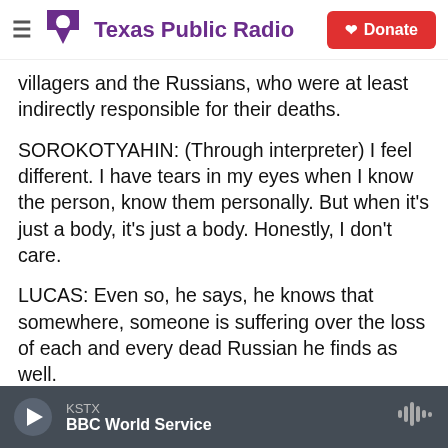Texas Public Radio | Donate
villagers and the Russians, who were at least indirectly responsible for their deaths.
SOROKOTYAHIN: (Through interpreter) I feel different. I have tears in my eyes when I know the person, know them personally. But when it's just a body, it's just a body. Honestly, I don't care.
LUCAS: Even so, he says, he knows that somewhere, someone is suffering over the loss of each and every dead Russian he finds as well.
SOROKOTYAHIN: (Through interpreter) The sad thing is even the Russian guys have parents.
KSTX | BBC World Service